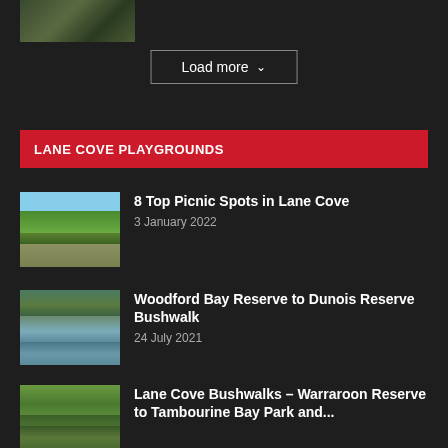[Figure (photo): Thumbnail photo of a forested area, top-left of page]
Load more ▾
LANE COVE PLAYGROUNDS
[Figure (photo): Outdoor park/picnic area with trees and open grass under blue sky]
8 Top Picnic Spots in Lane Cove
3 January 2022
[Figure (photo): Woodford Bay Reserve with water and bush-covered cliffs]
Woodford Bay Reserve to Dunois Reserve Bushwalk
24 July 2021
[Figure (photo): Lane Cove bushwalk area with trees and vegetation]
Lane Cove Bushwalks – Warraroon Reserve to Tambourine Bay Park and...
6 July 2021